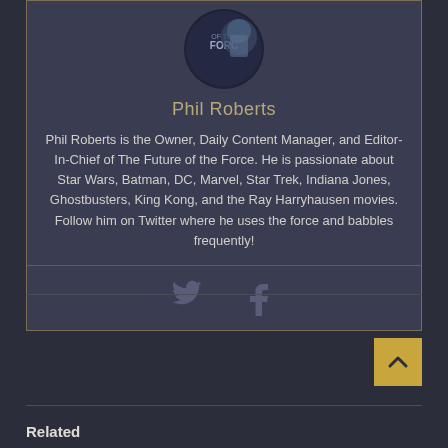[Figure (photo): Circular author photo of Phil Roberts with a dark blue background showing a podcast/show logo and a man in a suit]
Phil Roberts
Phil Roberts is the Owner, Daily Content Manager, and Editor-In-Chief of The Future of the Force. He is passionate about Star Wars, Batman, DC, Marvel, Star Trek, Indiana Jones, Ghostbusters, King Kong, and the Ray Harryhausen movies. Follow him on Twitter where he uses the force and babbles frequently!
[Figure (infographic): Social media icons: Twitter bird icon and Facebook f icon]
Like this:
Loading...
Related